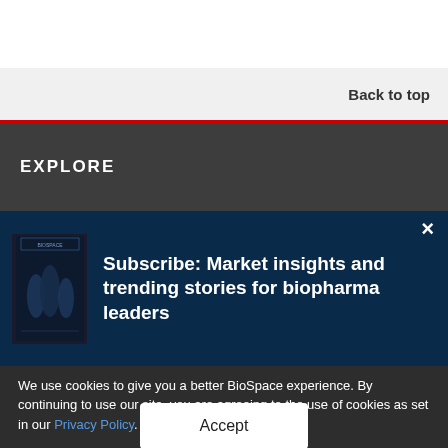Back to top
EXPLORE
[Figure (illustration): Dark blue subscription popup with a small book/magazine cover image on the left showing silhouetted figures, and bold white text reading 'Subscribe: Market insights and trending stories for biopharma leaders', with an X close button in the top right corner.]
We use cookies to give you a better BioSpace experience. By continuing to use our site, you are agreeing to the use of cookies as set in our Privacy Policy.
Accept